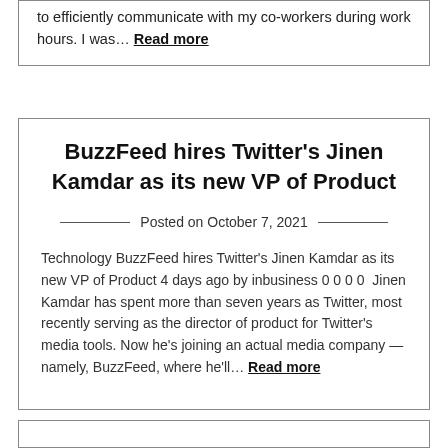to efficiently communicate with my co-workers during work hours. I was… Read more
BuzzFeed hires Twitter's Jinen Kamdar as its new VP of Product
Posted on October 7, 2021
Technology BuzzFeed hires Twitter's Jinen Kamdar as its new VP of Product 4 days ago by inbusiness 0 0 0 0  Jinen Kamdar has spent more than seven years as Twitter, most recently serving as the director of product for Twitter's media tools. Now he's joining an actual media company — namely, BuzzFeed, where he'll… Read more